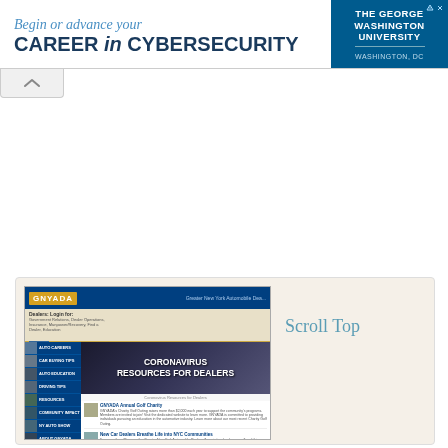[Figure (screenshot): Advertisement banner for The George Washington University cybersecurity program. Left side shows text 'Begin or advance your CAREER in CYBERSECURITY' on white background. Right side shows GWU branding in blue.]
[Figure (screenshot): Screenshot of the GNYADA (Greater New York Automobile Dealers Association) website showing the homepage with a Coronavirus Resources for Dealers hero image, navigation sidebar with Auto Careers, Car Buying Tips, Auto Education, Driving Tips, Resources, Community Impact, NY Auto Show, About GNYADA sections, and news items. A 'Scroll Top' label is visible to the right.]